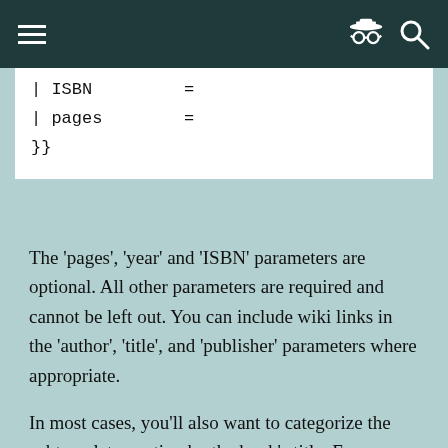| ISBN         =
| pages        =
}}
The 'pages', 'year' and 'ISBN' parameters are optional. All other parameters are required and cannot be left out. You can include wiki links in the 'author', 'title', and 'publisher' parameters where appropriate.
In most cases, you'll also want to categorize the subtemplate, sorting by the book's title. For example: